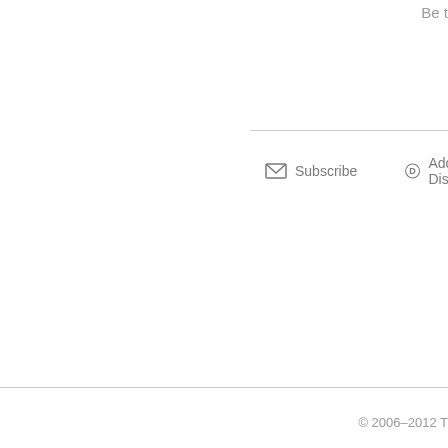Be t
Subscribe   Add Disqus
© 2006–2012 T